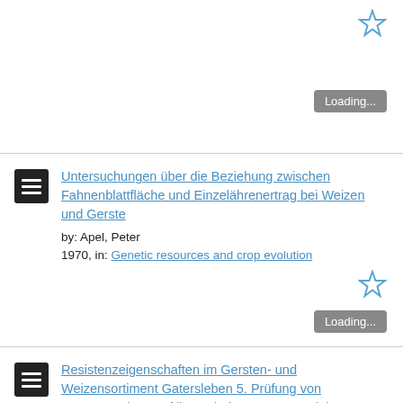[Figure (other): Blue star bookmark icon in top right corner]
Loading...
[Figure (other): Document list icon]
Untersuchungen über die Beziehung zwischen Fahnenblattfläche und Einzelährenertrag bei Weizen und Gerste by: Apel, Peter 1970, in: Genetic resources and crop evolution
[Figure (other): Blue star bookmark icon]
Loading...
[Figure (other): Document list icon]
Resistenzeigenschaften im Gersten- und Weizensortiment Gatersleben 5. Prüfung von Sommerweizen auf ihr Verhalten gegenErysiphe graminis DC. f. sp.tritici Marchal by: Nover, Use...